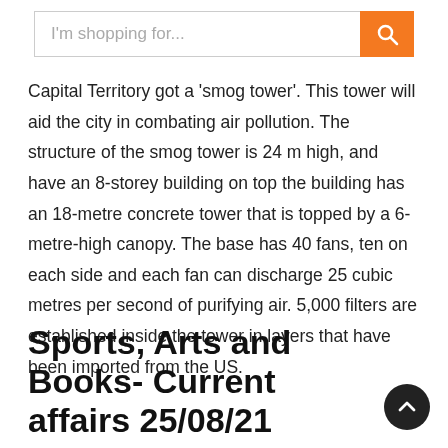I'm shopping for...
Capital Territory got a 'smog tower'. This tower will aid the city in combating air pollution. The structure of the smog tower is 24 m high, and have an 8-storey building on top the building has an 18-metre concrete tower that is topped by a 6-metre-high canopy. The base has 40 fans, ten on each side and each fan can discharge 25 cubic metres per second of purifying air. 5,000 filters are established inside the tower in layers that have been imported from the US.
Sports, Arts and Books- Current affairs 25/08/21